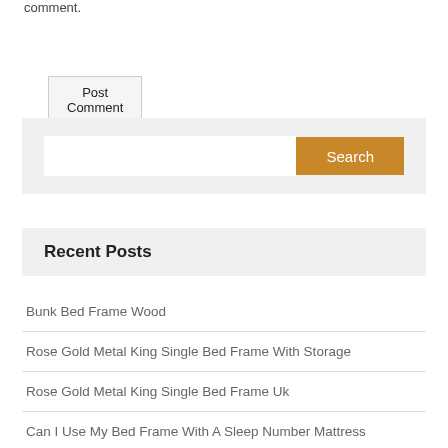comment.
Post Comment
[Figure (screenshot): Search bar with text input and orange Search button on a light gray background]
Recent Posts
Bunk Bed Frame Wood
Rose Gold Metal King Single Bed Frame With Storage
Rose Gold Metal King Single Bed Frame Uk
Can I Use My Bed Frame With A Sleep Number Mattress
Can You Use A Bed Frame With Sleep Number
Can You Use Your Bed Frame With A Sleep Number